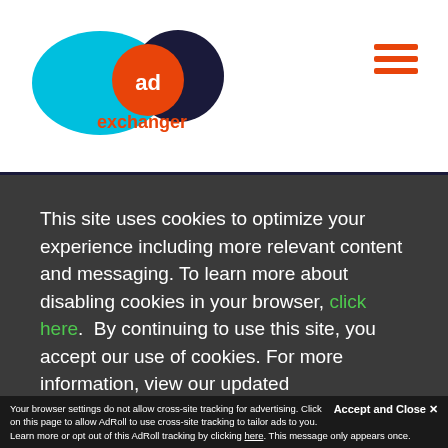[Figure (logo): AdExchanger logo with cyan and dark blue overlapping circles and orange 'ad' badge, with 'exchanger' in orange text]
[Figure (other): Hamburger menu icon (three horizontal orange lines) in top right corner]
This site uses cookies to optimize your experience including more relevant content and messaging. To learn more about disabling cookies in your browser, click here. By continuing to use this site, you accept our use of cookies. For more information, view our updated Privacy Policy.
Your browser settings do not allow cross-site tracking for advertising. Click on this page to allow AdRoll to use cross-site tracking to tailor ads to you. Learn more or opt out of this AdRoll tracking by clicking here. This message only appears once.